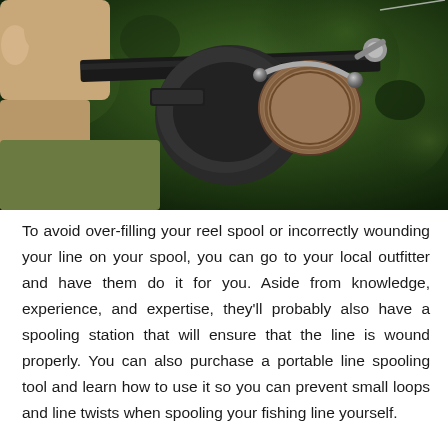[Figure (photo): Close-up photograph of a person's hands holding a fishing rod with a spinning reel attached. The reel is dark/black colored with a spool wound with fishing line. Background is blurred green foliage (bokeh effect).]
To avoid over-filling your reel spool or incorrectly wounding your line on your spool, you can go to your local outfitter and have them do it for you. Aside from knowledge, experience, and expertise, they'll probably also have a spooling station that will ensure that the line is wound properly. You can also purchase a portable line spooling tool and learn how to use it so you can prevent small loops and line twists when spooling your fishing line yourself.